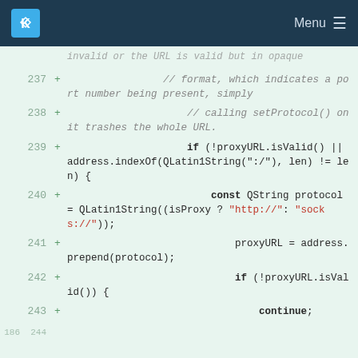KDE Logo | Menu
[Figure (screenshot): Code diff viewer showing C++ source lines 237-244 with line numbers, plus signs, and syntax-highlighted code on a light green background.]